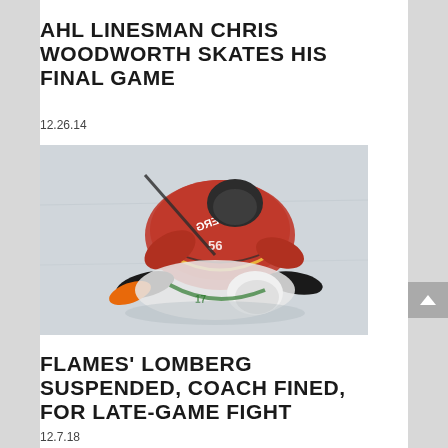AHL LINESMAN CHRIS WOODWORTH SKATES HIS FINAL GAME
12.26.14
[Figure (photo): Hockey fight on ice: a player in a red Flames jersey with name LOMBERG on the back wrestles another player in a white/green jersey on the ice surface]
FLAMES' LOMBERG SUSPENDED, COACH FINED, FOR LATE-GAME FIGHT
12.7.18